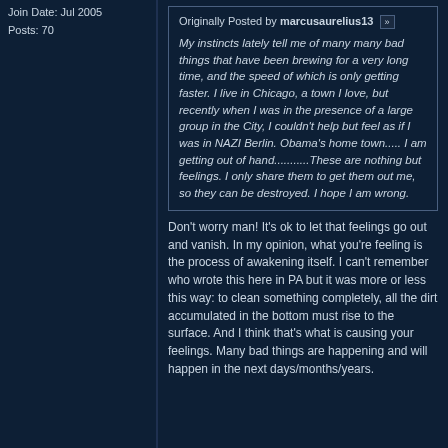Join Date: Jul 2005
Posts: 70
Originally Posted by marcusaurelius13

My instincts lately tell me of many many bad things that have been brewing for a very long time, and the speed of which is only getting faster. I live in Chicago, a town I love, but recently when I was in the presence of a large group in the City, I couldn't help but feel as if I was in NAZI Berlin. Obama's home town..... I am getting out of hand...........These are nothing but feelings. I only share them to get them out me, so they can be destroyed. I hope I am wrong.
Don't worry man! It's ok to let that feelings go out and vanish. In my opinion, what you're feeling is the process of awakening itself. I can't remember who wrote this here in PA but it was more or less this way: to clean something completely, all the dirt accumulated in the bottom must rise to the surface. And I think that's what is causing your feelings. Many bad things are happening and will happen in the next days/months/years.